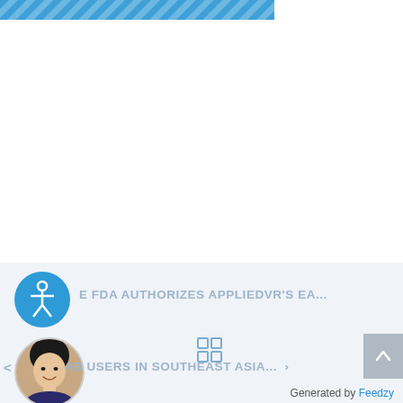[Figure (illustration): Blue diagonal striped banner at top left of page]
[Figure (illustration): Blue circle with white accessibility/person icon (wheelchair accessible symbol)]
E FDA AUTHORIZES APPLIEDVR'S EA...
[Figure (illustration): Four-square grid icon in blue outline]
[Figure (photo): Circular avatar photo of a dark-haired woman smiling, wearing formal attire]
AB USERS IN SOUTHEAST ASIA... >
Generated by Feedzy